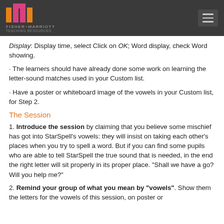Fisher+Marriott
Display: Display time, select Click on OK; Word display, check Word showing.
· The learners should have already done some work on learning the letter-sound matches used in your Custom list.
· Have a poster or whiteboard image of the vowels in your Custom list, for Step 2.
The Session
1. Introduce the session by claiming that you believe some mischief has got into StarSpell's vowels: they will insist on taking each other's places when you try to spell a word. But if you can find some pupils who are able to tell StarSpell the true sound that is needed, in the end the right letter will sit properly in its proper place. "Shall we have a go? Will you help me?"
2. Remind your group of what you mean by "vowels". Show them the letters for the vowels of this session, on poster or